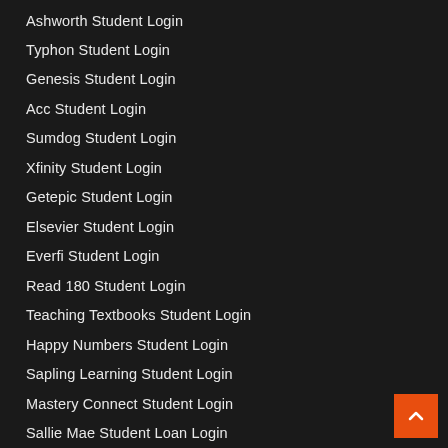Ashworth Student Login
Typhon Student Login
Genesis Student Login
Acc Student Login
Sumdog Student Login
Xfinity Student Login
Getepic Student Login
Elsevier Student Login
Everfi Student Login
Read 180 Student Login
Teaching Textbooks Student Login
Happy Numbers Student Login
Sapling Learning Student Login
Mastery Connect Student Login
Sallie Mae Student Loan Login
Ashford University Student Portal Login
Classcraft Student Login
Gcu Student Portal Login Loudcloud